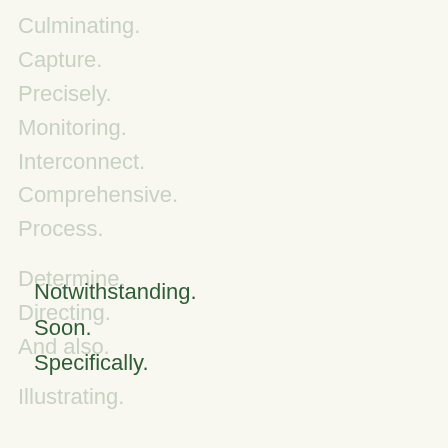Culminating.
Capture.
Precisely.
Monitoring.
Interconnect.
Comprehensive.
Process.
Determine.
Directing.
And also.
Illustrating.
Notwithstanding.
Soon.
Specifically.